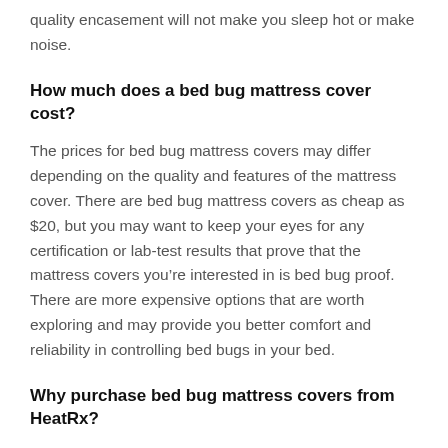quality encasement will not make you sleep hot or make noise.
How much does a bed bug mattress cover cost?
The prices for bed bug mattress covers may differ depending on the quality and features of the mattress cover. There are bed bug mattress covers as cheap as $20, but you may want to keep your eyes for any certification or lab-test results that prove that the mattress covers you’re interested in is bed bug proof. There are more expensive options that are worth exploring and may provide you better comfort and reliability in controlling bed bugs in your bed.
Why purchase bed bug mattress covers from HeatRx?